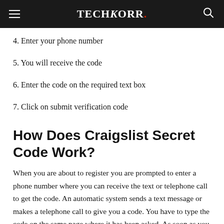TechKorr.
4. Enter your phone number
5. You will receive the code
6. Enter the code on the required text box
7. Click on submit verification code
How Does Craigslist Secret Code Work?
When you are about to register you are prompted to enter a phone number where you can receive the text or telephone call to get the code. An automatic system sends a text message or makes a telephone call to give you a code. You have to type the code on the same page where it has been asked. As soon as you enter the code you will be able to post and you may continue posting your